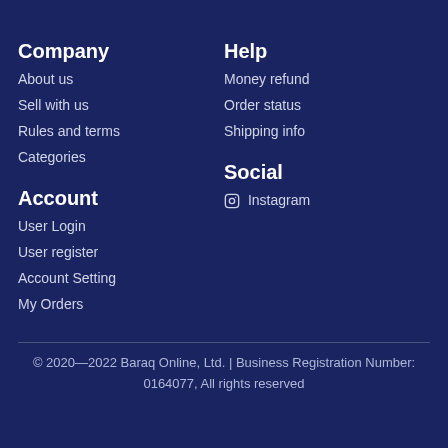Company
About us
Sell with us
Rules and terms
Categories
Help
Money refund
Order status
Shipping info
Account
User Login
User register
Account Setting
My Orders
Social
Instagram
© 2020—2022 Baraq Online, Ltd. | Business Registration Number: 0164077, All rights reserved